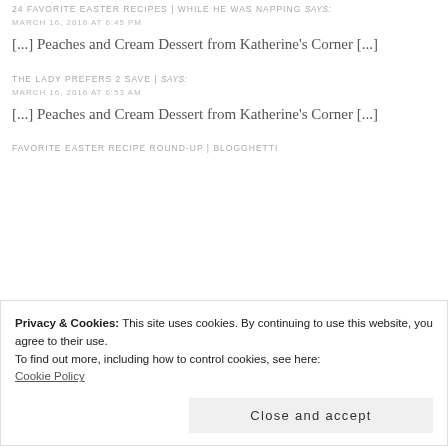24 FAVORITE EASTER RECIPES | WHILE HE WAS NAPPING says:
MARCH 16, 2016 AT 6:45 PM
[...] Peaches and Cream Dessert from Katherine's Corner [...]
THE LADY PREFERS 2 SAVE | says:
MARCH 16, 2016 AT 6:53 AM
[...] Peaches and Cream Dessert from Katherine's Corner [...]
FAVORITE EASTER RECIPE ROUND-UP | BLOGGHETTI
Privacy & Cookies: This site uses cookies. By continuing to use this website, you agree to their use.
To find out more, including how to control cookies, see here:
Cookie Policy
Close and accept
24 FAVORITE EASTER RECIPES ROUND-UP – says: